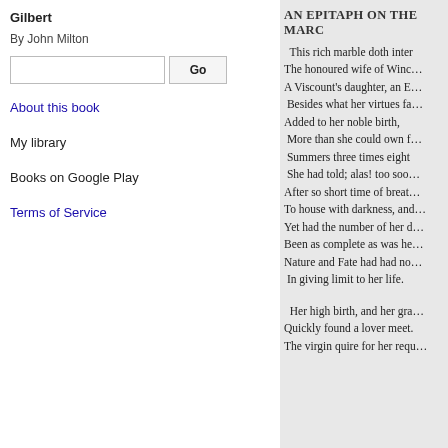Gilbert
By John Milton
AN EPITAPH ON THE MARC…
About this book
My library
Books on Google Play
Terms of Service
This rich marble doth inter
The honoured wife of Winc…
A Viscount's daughter, an E…
Besides what her virtues fa…
Added to her noble birth,
More than she could own f…
Summers three times eight
She had told; alas! too soo…
After so short time of breat…
To house with darkness, an…
Yet had the number of her d…
Been as complete as was he…
Nature and Fate had had no…
In giving limit to her life.
Her high birth, and her gra…
Quickly found a lover meet.
The virgin quire for her requ…